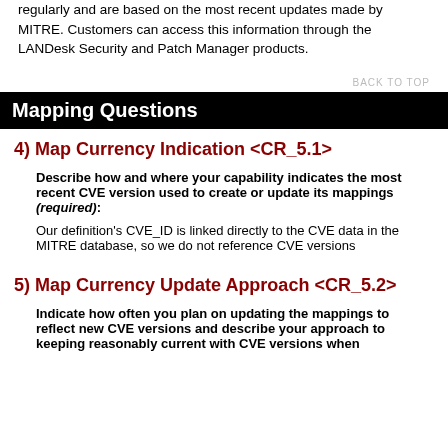regularly and are based on the most recent updates made by MITRE. Customers can access this information through the LANDesk Security and Patch Manager products.
BACK TO TOP
Mapping Questions
4) Map Currency Indication <CR_5.1>
Describe how and where your capability indicates the most recent CVE version used to create or update its mappings (required):
Our definition's CVE_ID is linked directly to the CVE data in the MITRE database, so we do not reference CVE versions
5) Map Currency Update Approach <CR_5.2>
Indicate how often you plan on updating the mappings to reflect new CVE versions and describe your approach to keeping reasonably current with CVE versions when assigning these to your security...